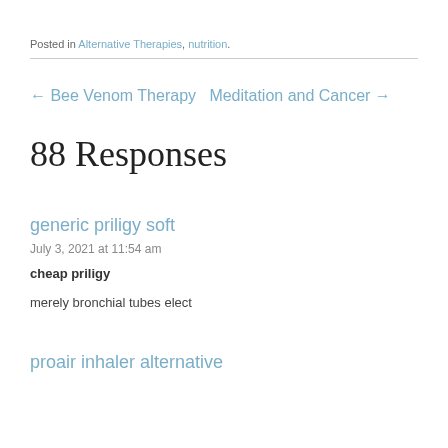Posted in Alternative Therapies, nutrition.
← Bee Venom Therapy   Meditation and Cancer →
88 Responses
generic priligy soft
July 3, 2021 at 11:54 am
cheap priligy
merely bronchial tubes elect
proair inhaler alternative